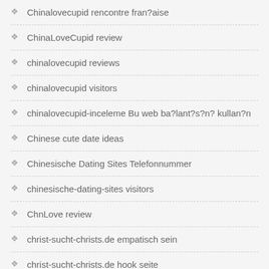Chinalovecupid rencontre fran?aise
ChinaLoveCupid review
chinalovecupid reviews
chinalovecupid visitors
chinalovecupid-inceleme Bu web ba?lant?s?n? kullan?n
Chinese cute date ideas
Chinesische Dating Sites Telefonnummer
chinesische-dating-sites visitors
ChnLove review
christ-sucht-christs.de empatisch sein
christ-sucht-christs.de hook seite